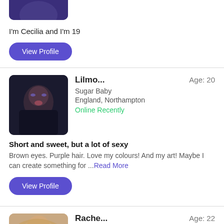[Figure (photo): Partial profile photo of Cecilia, dark purple/indigo tones, cropped at top]
I'm Cecilia and I'm 19
View Profile
[Figure (photo): Profile photo of Lilmo, dark background, person with glasses and purple hair]
Lilmo...
Age: 20
Sugar Baby
England, Northampton
Online Recently
Short and sweet, but a lot of sexy
Brown eyes. Purple hair. Love my colours! And my art! Maybe I can create something for ...Read More
View Profile
[Figure (photo): Partial profile photo of Rache, warm skin tones, blonde hair, cropped at bottom]
Rache...
Age: 22
Sugar Baby
England, Northampton